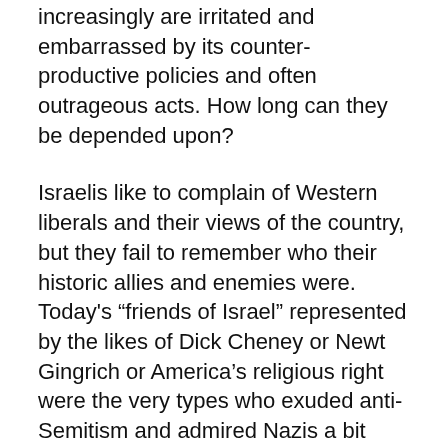increasingly are irritated and embarrassed by its counter-productive policies and often outrageous acts. How long can they be depended upon?
Israelis like to complain of Western liberals and their views of the country, but they fail to remember who their historic allies and enemies were. Today's “friends of Israel” represented by the likes of Dick Cheney or Newt Gingrich or America’s religious right were the very types who exuded anti-Semitism and admired Nazis a bit more than half a century ago. How secure are such attachments?
The Holocaust generation will completely disappear soon, taking with it a great deal of the intense fear and guilt which powered Israel’s creation. The efforts of ideologue Zionists for decades would never have made Israel a reality. It took the immensity of the Holocaust, influencing both Jewish opinion like the United States and big...